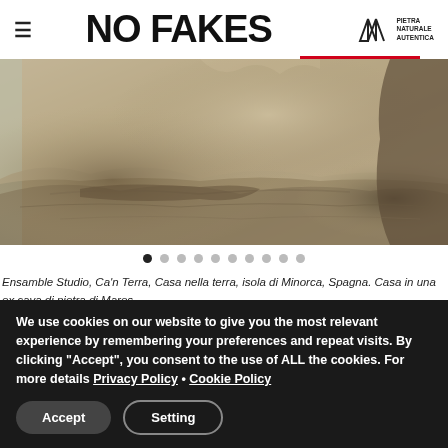NO FAKES
[Figure (photo): Archaeological excavation or stone quarry interior showing rough hewn stone walls and floor, Minorca Spain]
Ensamble Studio, Ca'n Terra, Casa nella terra, isola di Minorca, Spagna. Casa in una ex cava di pietra di Mares.
Photo: © ensamble studio
We use cookies on our website to give you the most relevant experience by remembering your preferences and repeat visits. By clicking "Accept", you consent to the use of ALL the cookies. For more details Privacy Policy • Cookie Policy